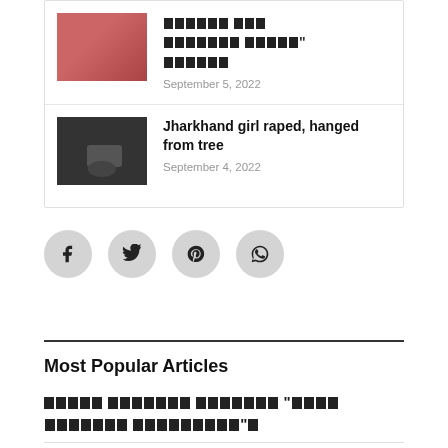[Figure (photo): Thumbnail image for first article (partially visible), group scene with red tones]
[blocked text in non-Latin script] September 5, 2022
September 5, 2022
[Figure (photo): Dark thumbnail photo showing hands, possibly crime scene]
Jharkhand girl raped, hanged from tree
September 4, 2022
[Figure (infographic): Social share buttons: Facebook, Twitter, Pinterest, WhatsApp]
Most Popular Articles
[blocked text in non-Latin script, two lines]